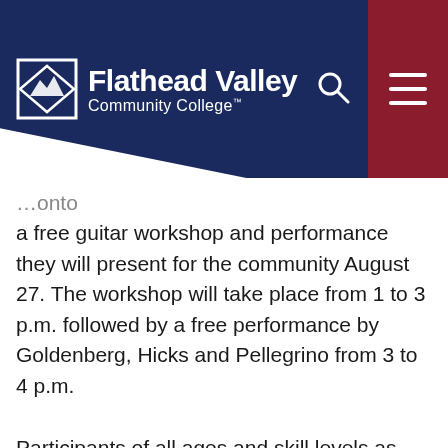Flathead Valley Community College
…onto a free guitar workshop and performance they will present for the community August 27. The workshop will take place from 1 to 3 p.m. followed by a free performance by Goldenberg, Hicks and Pellegrino from 3 to 4 p.m.
Participants of all ages and skill levels as well as all music lovers are welcome to attend. Participants can bring their own guitars if they wish to play during the workshop, but hands-on participation is not required.